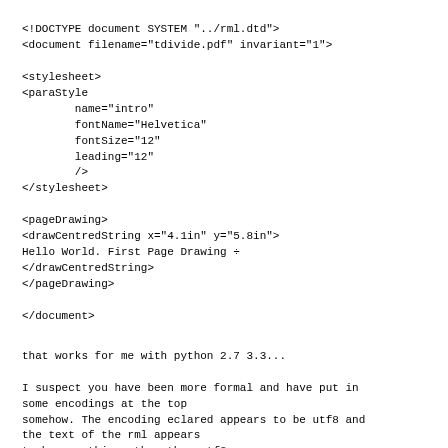<!DOCTYPE document SYSTEM "../rml.dtd">
<document filename="tdivide.pdf" invariant="1">

<stylesheet>
<paraStyle
        name="intro"
        fontName="Helvetica"
        fontSize="12"
        leading="12"
        />
</stylesheet>

<pageDrawing>
<drawCentredString x="4.1in" y="5.8in">
Hello World. First Page Drawing ÷
</drawCentredString>
</pageDrawing>

</document>
that works for me with python 2.7 3.3...
I suspect you have been more formal and have put in
some encodings at the top
somehow. The encoding eclared appears to be utf8 and
the text of the rml appears
to be something other than utf8.